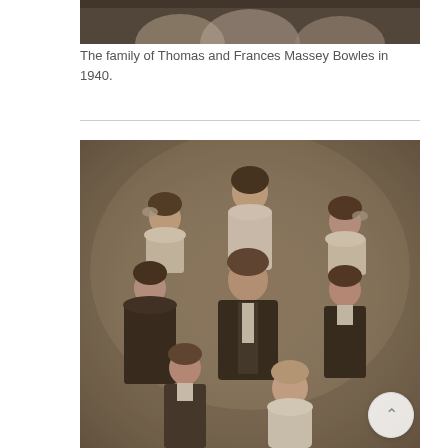[Figure (photo): Partial view of a black and white photograph showing people, cropped at the bottom of a group photo, visible only at the top of the page.]
The family of Thomas and Frances Massey Bowles in 1940.
[Figure (photo): Sepia-toned formal family portrait from the early 1900s showing a group of approximately 8 people including a man and woman (parents) and several children of various ages, posed in a studio setting.]